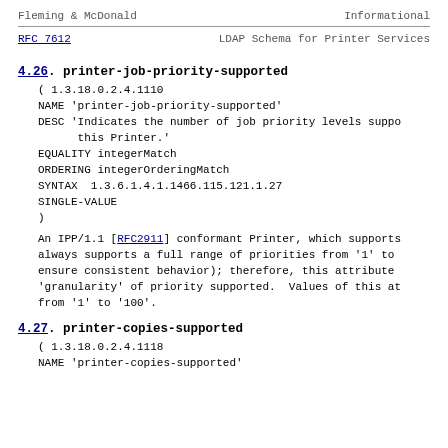Fleming & McDonald                    Informational
RFC 7612              LDAP Schema for Printer Services
4.26.  printer-job-priority-supported
( 1.3.18.0.2.4.1110
    NAME 'printer-job-priority-supported'
    DESC 'Indicates the number of job priority levels supported by this Printer.'
    EQUALITY integerMatch
    ORDERING integerOrderingMatch
    SYNTAX  1.3.6.1.4.1.1466.115.121.1.27
    SINGLE-VALUE
    )
An IPP/1.1 [RFC2911] conformant Printer, which supports job priority, always supports a full range of priorities from '1' to ensure consistent behavior); therefore, this attribute 'granularity' of priority supported.  Values of this attribute range from '1' to '100'.
4.27.  printer-copies-supported
( 1.3.18.0.2.4.1118
    NAME 'printer-copies-supported'